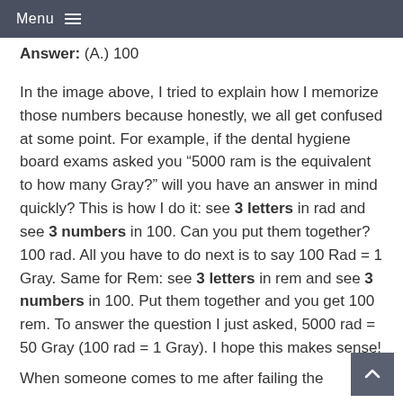Menu
Answer: (A.) 100
In the image above, I tried to explain how I memorize those numbers because honestly, we all get confused at some point. For example, if the dental hygiene board exams asked you “5000 ram is the equivalent to how many Gray?” will you have an answer in mind quickly? This is how I do it: see 3 letters in rad and see 3 numbers in 100. Can you put them together? 100 rad. All you have to do next is to say 100 Rad = 1 Gray. Same for Rem: see 3 letters in rem and see 3 numbers in 100. Put them together and you get 100 rem. To answer the question I just asked, 5000 rad = 50 Gray (100 rad = 1 Gray). I hope this makes sense!
When someone comes to me after failing the